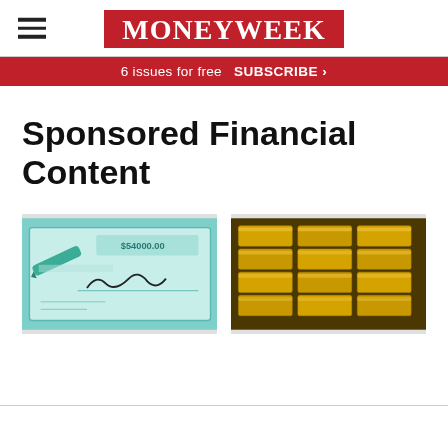MoneyWeek
6 issues for free  SUBSCRIBE >
Sponsored Financial Content
[Figure (photo): Close-up of a cheque with a green pen and a signature, showing a dollar amount]
[Figure (photo): Stacks of gold bars arranged in rows]